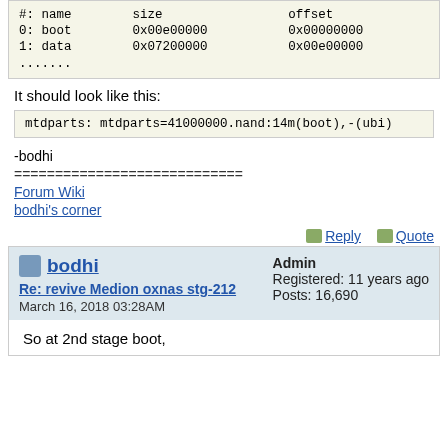| #: | name | size | offset |
| --- | --- | --- | --- |
| 0: | boot | 0x00e00000 | 0x00000000 |
| 1: | data | 0x07200000 | 0x00e00000 |
It should look like this:
mtdparts: mtdparts=41000000.nand:14m(boot),-(ubi)
-bodhi
============================
Forum Wiki
bodhi's corner
bodhi
Re: revive Medion oxnas stg-212
March 16, 2018 03:28AM
Admin
Registered: 11 years ago
Posts: 16,690
So at 2nd stage boot,